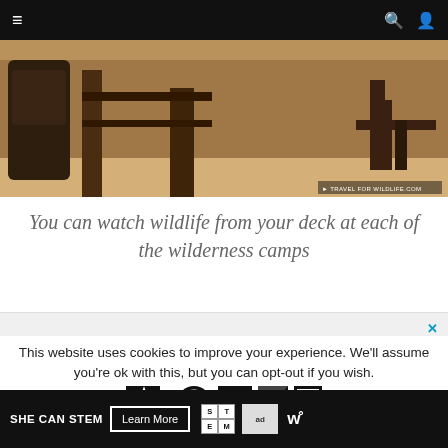Navigation bar with menu, search, and user icons
[Figure (photo): Person sitting at a wooden fence/deck railing in an outdoor wilderness camp setting, sandy ground, wooden posts visible. Watermark: TRAVEL FOR WILDLIFE.COM]
You can watch wildlife from your deck at each of the wilderness camps
[Figure (screenshot): Advertisement banner area with close (x) button, showing logos/icons in black and white at the bottom]
This website uses cookies to improve your experience. We'll assume you're ok with this, but you can opt-out if you wish.
SHE CAN STEM   Learn More   [STEM logo] [Ad Council logo] [W logo]